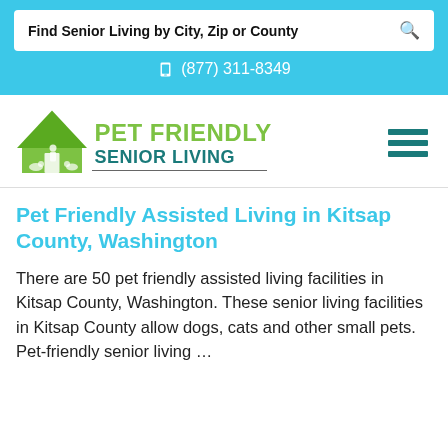Find Senior Living by City, Zip or County
(877) 311-8349
[Figure (logo): Pet Friendly Senior Living logo with green house and animals icon and teal text]
Pet Friendly Assisted Living in Kitsap County, Washington
There are 50 pet friendly assisted living facilities in Kitsap County, Washington. These senior living facilities in Kitsap County allow dogs, cats and other small pets. Pet-friendly senior living …